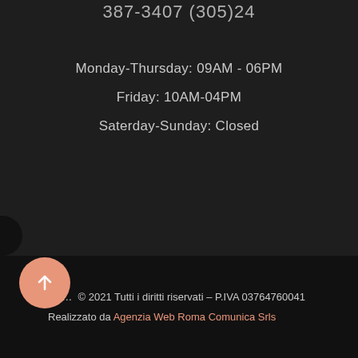387-3407 (305)24
Monday-Thursday: 09AM - 06PM
Friday: 10AM-04PM
Saterday-Sunday: Closed
Ge... © 2021 Tutti i diritti riservati – P.IVA 03764760041
Realizzato da Agenzia Web Roma Comunica Srls